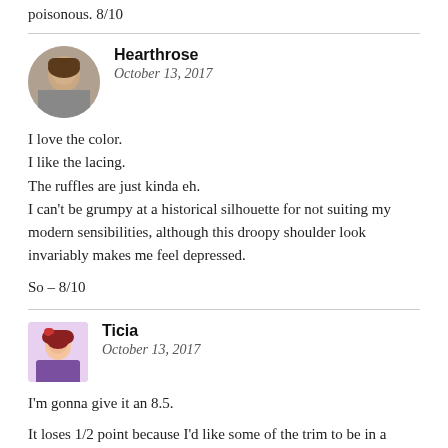poisonous. 8/10
Hearthrose
October 13, 2017
I love the color.
I like the lacing.
The ruffles are just kinda eh.
I can't be grumpy at a historical silhouette for not suiting my modern sensibilities, although this droopy shoulder look invariably makes me feel depressed.

So – 8/10
Ticia
October 13, 2017
I'm gonna give it an 8.5.

It loses 1/2 point because I'd like some of the trim to be in a